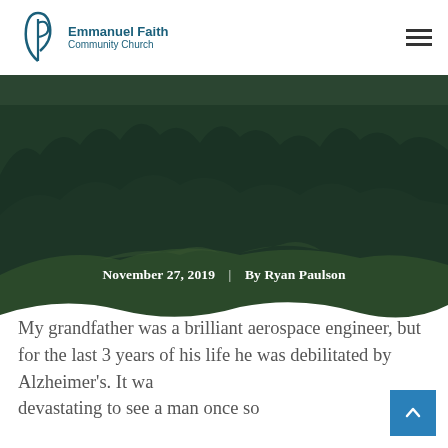Emmanuel Faith Community Church
[Figure (photo): Aerial landscape photo of a dense forest with green trees covering hillsides, with overlay text showing date and author]
November 27, 2019  |  By Ryan Paulson
My grandfather was a brilliant aerospace engineer, but for the last 3 years of his life he was debilitated by Alzheimer's. It wa… devastating to see a man once so